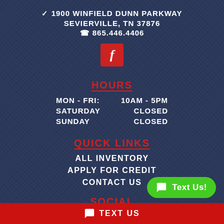📍 1900 WINFIELD DUNN PARKWAY
SEVIERVILLE, TN 37876
📞 865.446.4406
[Figure (illustration): Red square Facebook icon button with white f letter]
HOURS
MON - FRI:   10AM - 5PM
SATURDAY     CLOSED
SUNDAY       CLOSED
QUICK LINKS
ALL INVENTORY
APPLY FOR CREDIT
CONTACT US
SOCIAL
[Figure (illustration): Two red icon buttons: Facebook (f) and envelope/email icons]
TEXT US
[Figure (illustration): Green rounded button labeled Text Us! with chat icon]